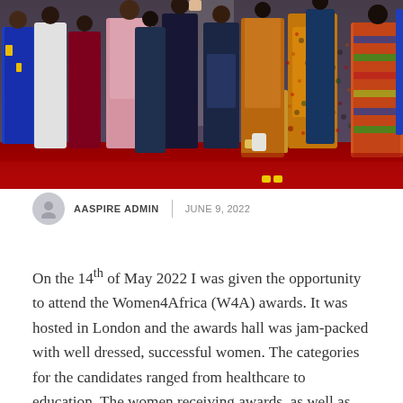[Figure (photo): Group photo of many women dressed in colorful formal and traditional African attire standing on a red carpet backdrop at the Women4Africa awards ceremony in London.]
AASPIRE ADMIN  |  JUNE 9, 2022
On the 14th of May 2022 I was given the opportunity to attend the Women4Africa (W4A) awards. It was hosted in London and the awards hall was jam-packed with well dressed, successful women. The categories for the candidates ranged from healthcare to education. The women receiving awards, as well as those nominating...